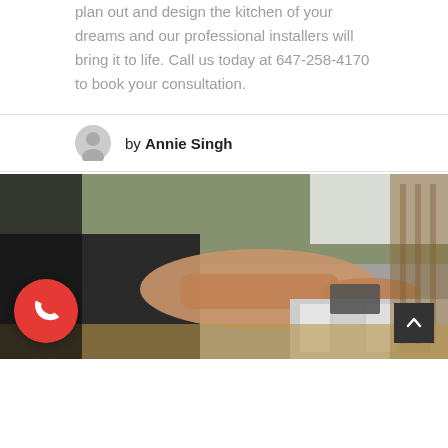plan out and design the kitchen of your dreams and our professional installers will bring it to life. Call us today at 647-258-4170 to book your consultation.
by Annie Singh
[Figure (photo): A person's hand browsing through tile or material samples at a counter, with green foliage blurred in the background. A red circular phone button is overlaid in the bottom-left corner, and a dark scroll-to-top button is in the bottom-right corner.]